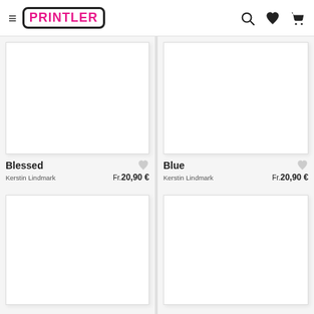Printler — Menu, Search, Wishlist, Cart
[Figure (photo): Product image placeholder for 'Blessed' — white/blank art print]
Blessed
Kerstin Lindmark  Fr.20,90 €
[Figure (photo): Product image placeholder for 'Blue' — white/blank art print]
Blue
Kerstin Lindmark  Fr.20,90 €
[Figure (photo): Product image placeholder — white/blank art print (bottom left)]
[Figure (photo): Product image placeholder — white/blank art print (bottom right)]